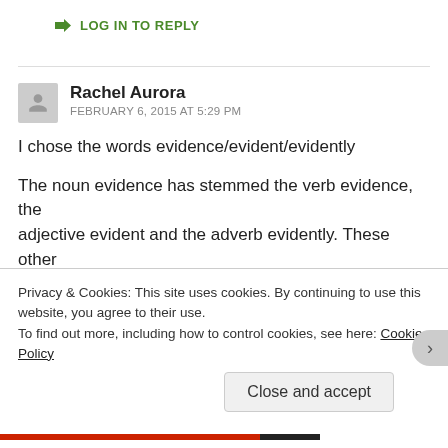↳ LOG IN TO REPLY
Rachel Aurora
FEBRUARY 6, 2015 AT 5:29 PM
I chose the words evidence/evident/evidently
The noun evidence has stemmed the verb evidence, the adjective evident and the adverb evidently. These other
Privacy & Cookies: This site uses cookies. By continuing to use this website, you agree to their use.
To find out more, including how to control cookies, see here: Cookie Policy
Close and accept